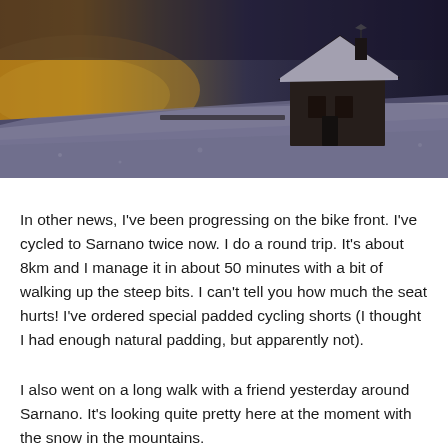[Figure (photo): A stone cottage or small church with a snow-covered roof set against a dramatic twilight sky with golden-yellow glow on the horizon. The surrounding landscape is blanketed in snow, giving a cold, wintry alpine atmosphere.]
In other news, I've been progressing on the bike front. I've cycled to Sarnano twice now. I do a round trip. It's about 8km and I manage it in about 50 minutes with a bit of walking up the steep bits. I can't tell you how much the seat hurts! I've ordered special padded cycling shorts (I thought I had enough natural padding, but apparently not).
I also went on a long walk with a friend yesterday around Sarnano. It's looking quite pretty here at the moment with the snow in the mountains.